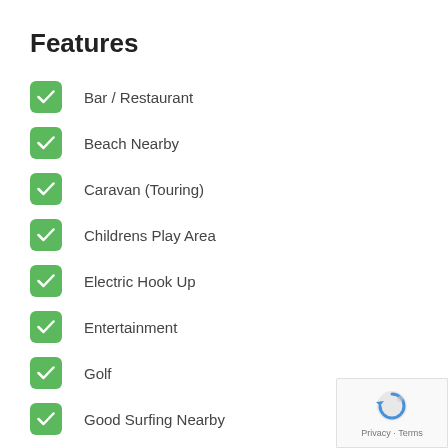Features
Bar / Restaurant
Beach Nearby
Caravan (Touring)
Childrens Play Area
Electric Hook Up
Entertainment
Golf
Good Surfing Nearby
Good Walking
Grass & Hard Standing
[Figure (logo): reCAPTCHA privacy badge with Google logo]